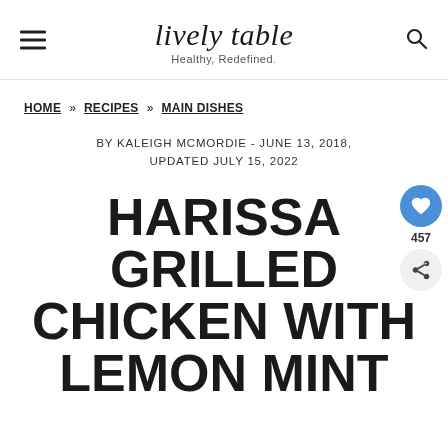lively table — Healthy, Redefined.
HOME » RECIPES » MAIN DISHES
BY KALEIGH MCMORDIE - JUNE 13, 2018, UPDATED JULY 15, 2022
HARISSA GRILLED CHICKEN WITH LEMON MINT